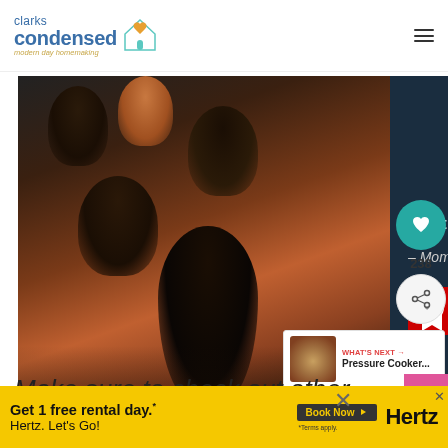clarks condensed — modern day homemaking
[Figure (photo): Family photo with a Dave Thomas Foundation for Adoption advertisement. Shows a Black family (adults and children) smiling together on the left, with a dark blue panel on the right containing the quote: 'what love really was until I met my children.' — Mom, adopted siblings, along with the Dave Thomas Foundation for Adoption logo.]
238
WHAT'S NEXT → Pressure Cooker...
Make sure to check out other
dis...
[Figure (photo): Hertz advertisement banner: Get 1 free rental day.* Book Now. Hertz. Let's Go! *Terms apply.]